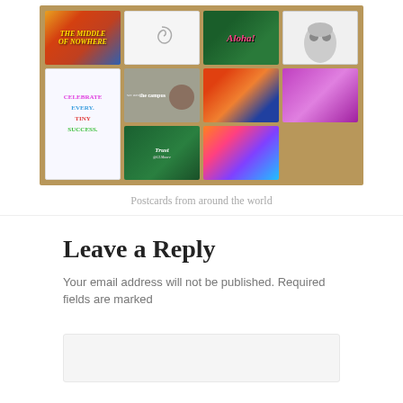[Figure (photo): A collection of postcards from around the world spread on a wooden table surface, including cards with text 'The Middle of Nowhere', 'Aloha!', 'Celebrate Every Tiny Success', 'we are the campus', 'Trust', and various decorative images including a rabbit, owl, mandala, and street scenes.]
Postcards from around the world
Leave a Reply
Your email address will not be published. Required fields are marked